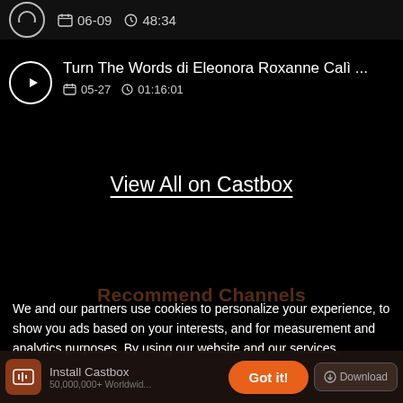[Figure (screenshot): Top bar showing partial episode row with calendar icon '06-09' and clock icon '48:34']
Turn The Words di Eleonora Roxanne Calì ... 05-27 01:16:01
View All on Castbox
Recommend Channels
We and our partners use cookies to personalize your experience, to show you ads based on your interests, and for measurement and analytics purposes. By using our website and our services,
Install Castbox 50,000,000+ Worldwide
Got it!
Download